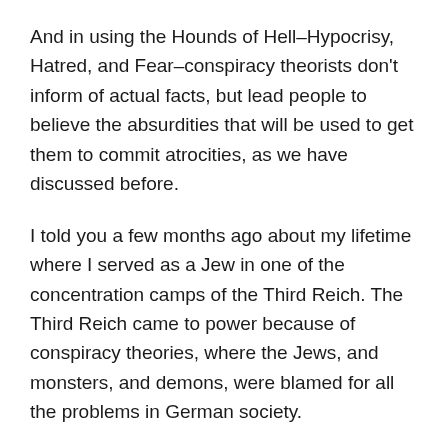And in using the Hounds of Hell–Hypocrisy, Hatred, and Fear–conspiracy theorists don't inform of actual facts, but lead people to believe the absurdities that will be used to get them to commit atrocities, as we have discussed before.
I told you a few months ago about my lifetime where I served as a Jew in one of the concentration camps of the Third Reich. The Third Reich came to power because of conspiracy theories, where the Jews, and monsters, and demons, were blamed for all the problems in German society.
The essence of any conspiracy theory is always the same–that one group of people, or perhaps two, are the root of all evil in society, and by getting rid of them, we can end the evils of society. Does this sound familiar to you now?